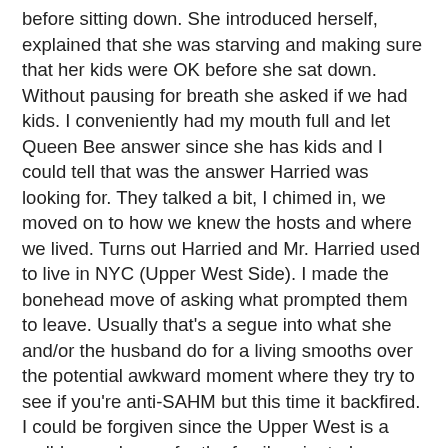before sitting down. She introduced herself, explained that she was starving and making sure that her kids were OK before she sat down. Without pausing for breath she asked if we had kids. I conveniently had my mouth full and let Queen Bee answer since she has kids and I could tell that was the answer Harried was looking for. They talked a bit, I chimed in, we moved on to how we knew the hosts and where we lived. Turns out Harried and Mr. Harried used to live in NYC (Upper West Side). I made the bonehead move of asking what prompted them to leave. Usually that's a segue into what she and/or the husband do for a living smooths over the potential awkward moment where they try to see if you're anti-SAHM but this time it backfired. I could be forgiven since the Upper West is a well-known haven for the family-oriented.
"Oh," she replied, "we wanted to have kids and raising kids in the city..." I admit, I raised my eyebrows just a touch, "I mean, I didn't know where anything was for kids, not even a playground." And then she just whacked the last coffin nail home with vigor, "You just don't notice that stuff if you don't have kids." I'd like to think that the weight of my interested